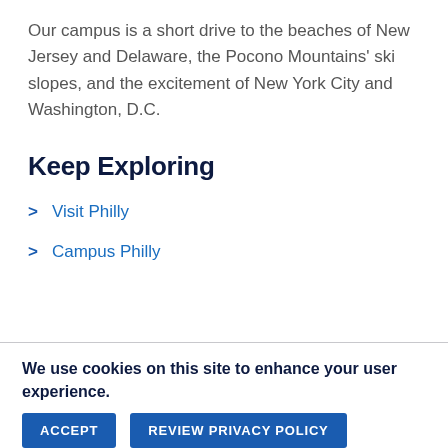Our campus is a short drive to the beaches of New Jersey and Delaware, the Pocono Mountains' ski slopes, and the excitement of New York City and Washington, D.C.
Keep Exploring
Visit Philly
Campus Philly
We use cookies on this site to enhance your user experience.
ACCEPT
REVIEW PRIVACY POLICY